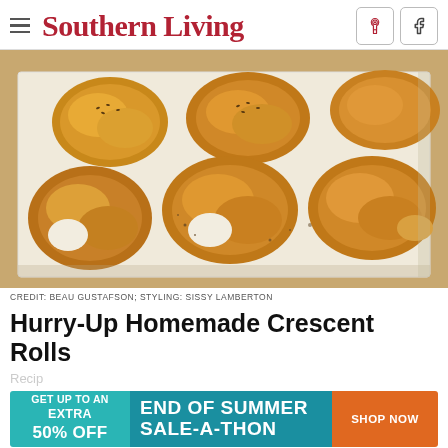Southern Living
[Figure (photo): Homemade crescent rolls on a white parchment-lined baking sheet, golden brown, some topped with sesame seeds and seasoning]
CREDIT: BEAU GUSTAFSON; STYLING: SISSY LAMBERTON
Hurry-Up Homemade Crescent Rolls
Recip
[Figure (infographic): Advertisement banner: GET UP TO AN EXTRA 50% OFF | END OF SUMMER SALE-A-THON | SHOP NOW]